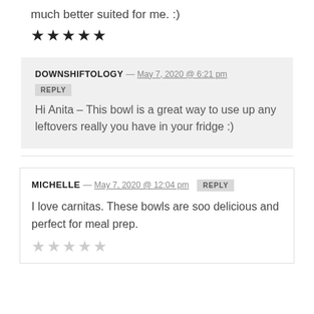much better suited for me. :)
[Figure (other): 5 filled black stars rating]
DOWNSHIFTOLOGY — May 7, 2020 @ 6:21 pm
REPLY
Hi Anita – This bowl is a great way to use up any leftovers really you have in your fridge :)
MICHELLE — May 7, 2020 @ 12:04 pm  REPLY
I love carnitas. These bowls are soo delicious and perfect for meal prep.
[Figure (other): 5 outline stars rating (empty/grey)]